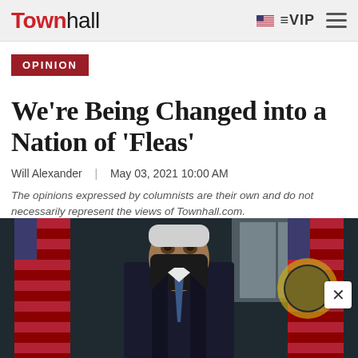Townhall | VIP
OPINION
We're Being Changed into a Nation of 'Fleas'
Will Alexander | May 03, 2021 10:00 AM
The opinions expressed by columnists are their own and do not necessarily represent the views of Townhall.com.
[Figure (photo): A person wearing a black face mask standing in front of American flags and a Presidential seal, likely in a White House setting.]